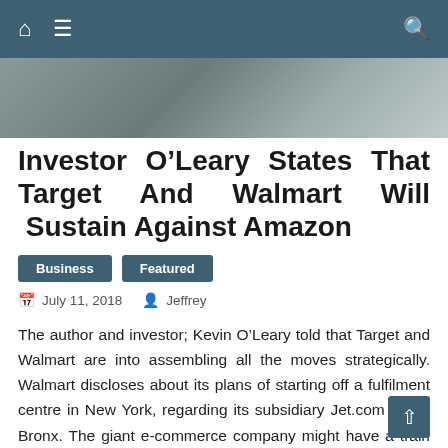Navigation bar with home, menu, and search icons
[Figure (photo): Partial photo of a person, cropped at top of visible area]
Investor O’Leary States That Target And Walmart Will Sustain Against Amazon
Business
Featured
July 11, 2018  Jeffrey
The author and investor; Kevin O’Leary told that Target and Walmart are into assembling all the moves strategically. Walmart discloses about its plans of starting off a fulfilment centre in New York, regarding its subsidiary Jet.com in the Bronx. The giant e-commerce company might have a train following after its money with giant-box retail chains; Target and Walmart, as stated by Kevin to CNBC. His comments has fallen in lines of the